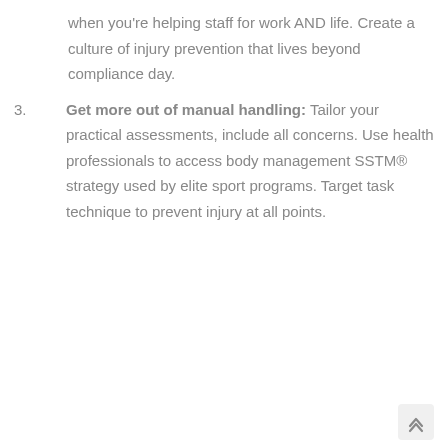when you're helping staff for work AND life. Create a culture of injury prevention that lives beyond compliance day.
3. Get more out of manual handling: Tailor your practical assessments, include all concerns. Use health professionals to access body management SSTM® strategy used by elite sport programs. Target task technique to prevent injury at all points.